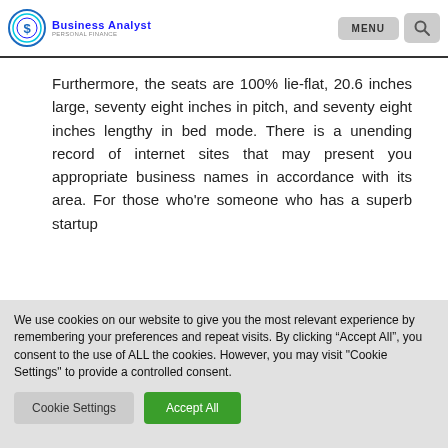Business Analyst | MENU | Search
Furthermore, the seats are 100% lie-flat, 20.6 inches large, seventy eight inches in pitch, and seventy eight inches lengthy in bed mode. There is a unending record of internet sites that may present you appropriate business names in accordance with its area. For those who’re someone who has a superb startup
We use cookies on our website to give you the most relevant experience by remembering your preferences and repeat visits. By clicking “Accept All”, you consent to the use of ALL the cookies. However, you may visit "Cookie Settings" to provide a controlled consent.
Cookie Settings | Accept All